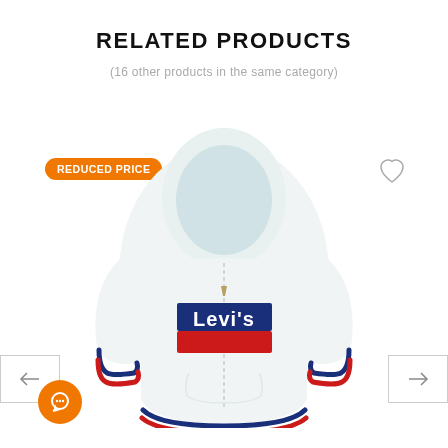RELATED PRODUCTS
(16 other products in the same category)
[Figure (photo): White Levi's zip-up hoodie with logo graphic, red and navy striped cuffs and hem, displayed flat on white background. A 'REDUCED PRICE' orange badge appears in the top-left. A heart/wishlist icon appears top-right. Left and right navigation arrows are visible on sides.]